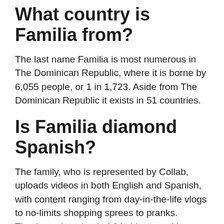What country is Familia from?
The last name Familia is most numerous in The Dominican Republic, where it is borne by 6,055 people, or 1 in 1,723. Aside from The Dominican Republic it exists in 51 countries.
Is Familia diamond Spanish?
The family, who is represented by Collab, uploads videos in both English and Spanish, with content ranging from day-in-the-life vlogs to no-limits shopping sprees to pranks. They've only uploaded 64 videos, making their channel one of the fastest-growing we've featured here on YouTube Millionaires.